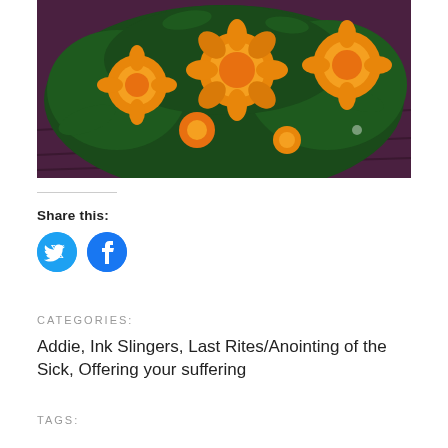[Figure (photo): Close-up photograph of bright orange/yellow marigold flowers with dark green foliage, resting on a dark purple wooden surface.]
Share this:
[Figure (infographic): Twitter and Facebook share icon buttons — blue circles with white bird and 'f' logos respectively.]
CATEGORIES:
Addie, Ink Slingers, Last Rites/Anointing of the Sick, Offering your suffering
TAGS: